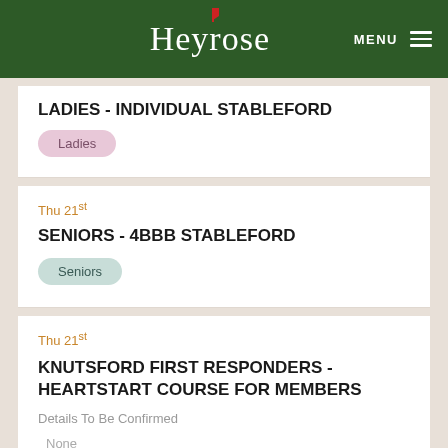Heyrose | MENU
LADIES - INDIVIDUAL STABLEFORD
Ladies
Thu 21st
SENIORS - 4BBB STABLEFORD
Seniors
Thu 21st
KNUTSFORD FIRST RESPONDERS - HEARTSTART COURSE FOR MEMBERS
Details To Be Confirmed
None